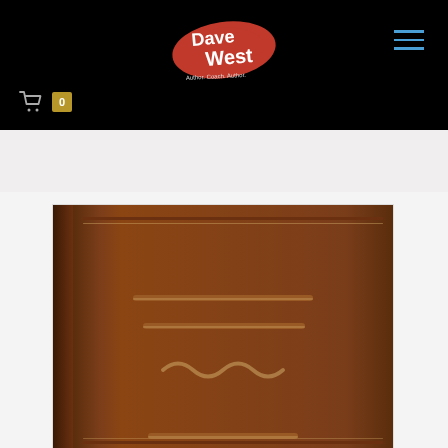[Figure (logo): Dave West logo - handwritten style text in red and white on black background with splatter effect. Subtitle reads 'Author. Coach. Author.']
[Figure (illustration): Shopping cart icon with badge showing 0 items]
[Figure (illustration): Brown leather-look book cover with embossed horizontal lines and a tilde/wave symbol, shown partially cropped at bottom of page]